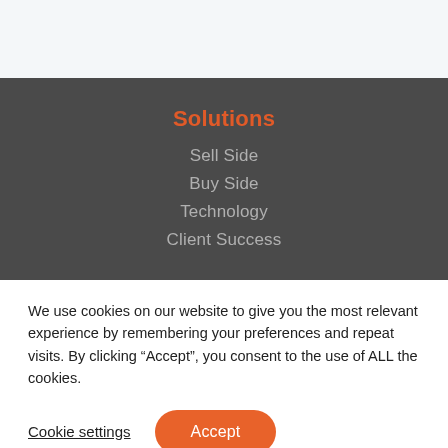Solutions
Sell Side
Buy Side
Technology
Client Success
We use cookies on our website to give you the most relevant experience by remembering your preferences and repeat visits. By clicking “Accept”, you consent to the use of ALL the cookies.
Cookie settings
Accept